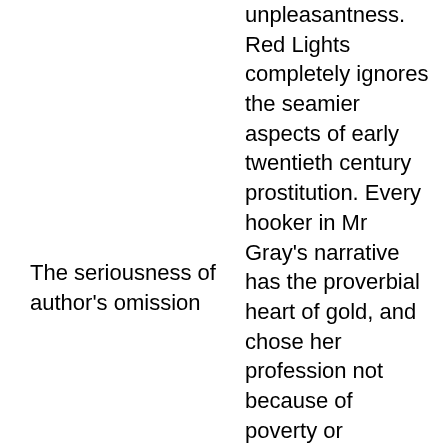unpleasantness. Red Lights completely ignores the seamier aspects of early twentieth century prostitution. Every hooker in Mr Gray's narrative has the proverbial heart of gold, and chose her profession not because of poverty or ignorance but because she was born with a predisposition toward the trade'. Even more indicative of Mr Gray's 'good old days' approach to his subject is his
The seriousness of author's omission